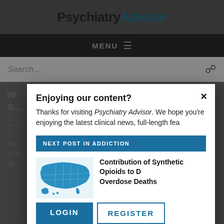PsychiatryAdvisor
MENU
Search...
Enjoying our content?
Thanks for visiting Psychiatry Advisor. We hope you're enjoying the latest clinical news, full-length features...
NEXT POST IN ADDICTION
[Figure (map): Map of the United States shown in blue as a thumbnail for the article preview]
Contribution of Synthetic Opioids to Drug Overdose Deaths
LOGIN
REGISTER